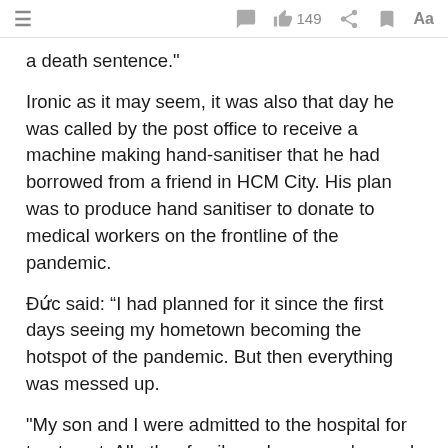≡  [comment icon]  👍 149  [share icon]  [bookmark icon]  Aa
a death sentence."
Ironic as it may seem, it was also that day he was called by the post office to receive a machine making hand-sanitiser that he had borrowed from a friend in HCM City. His plan was to produce hand sanitiser to donate to medical workers on the frontline of the pandemic.
Đức said: “I had planned for it since the first days seeing my hometown becoming the hotspot of the pandemic. But then everything was messed up.
"My son and I were admitted to the hospital for treatment. All other family and company's members became F1 and had to be quarantined."